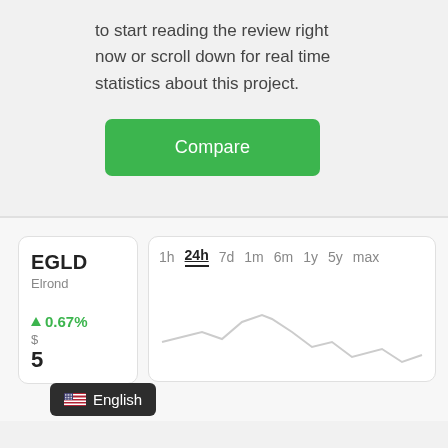to start reading the review right now or scroll down for real time statistics about this project.
[Figure (other): Green 'Compare' button]
[Figure (continuous-plot): EGLD Elrond 24h price chart showing a continuous line curve with ups and downs. Time range tabs: 1h, 24h (active), 7d, 1m, 6m, 1y, 5y, max. Token info: +0.67%, price starting with $5...]
English